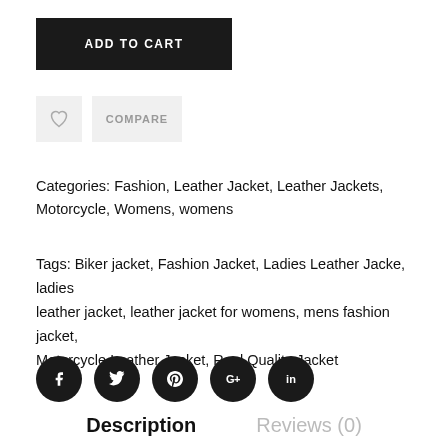ADD TO CART
COMPARE
Categories: Fashion, Leather Jacket, Leather Jackets, Motorcycle, Womens, womens
Tags: Biker jacket, Fashion Jacket, Ladies Leather Jacke, ladies leather jacket, leather jacket for womens, mens fashion jacket, Motorcycle Leather Jacket, Real Quality Jacket
[Figure (infographic): Social media share icons: Facebook (f), Twitter (t bird), Pinterest (p), Google+ (G+), LinkedIn (in) — all black circles]
Description
Reviews (0)